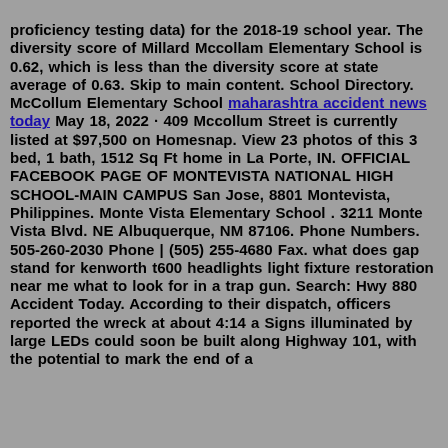proficiency testing data) for the 2018-19 school year. The diversity score of Millard Mccollam Elementary School is 0.62, which is less than the diversity score at state average of 0.63. Skip to main content. School Directory. McCollum Elementary School maharashtra accident news today May 18, 2022 · 409 Mccollum Street is currently listed at $97,500 on Homesnap. View 23 photos of this 3 bed, 1 bath, 1512 Sq Ft home in La Porte, IN. OFFICIAL FACEBOOK PAGE OF MONTEVISTA NATIONAL HIGH SCHOOL-MAIN CAMPUS San Jose, 8801 Montevista, Philippines. Monte Vista Elementary School . 3211 Monte Vista Blvd. NE Albuquerque, NM 87106. Phone Numbers. 505-260-2030 Phone | (505) 255-4680 Fax. what does gap stand for kenworth t600 headlights light fixture restoration near me what to look for in a trap gun. Search: Hwy 880 Accident Today. According to their dispatch, officers reported the wreck at about 4:14 a Signs illuminated by large LEDs could soon be built along Highway 101, with the potential to mark the end of a